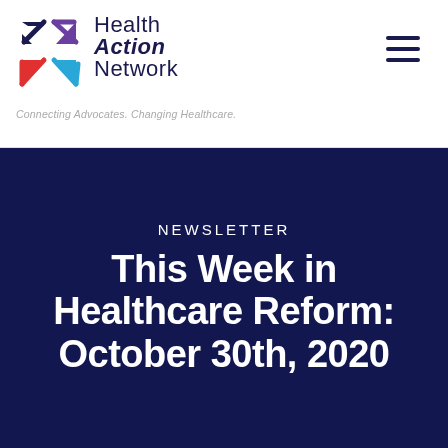[Figure (logo): Health Action Network logo with colored arrow icons and text 'Health Action Network' and tagline 'Connecting Advocates. Changing Healthcare.']
Connecting Advocates. Changing Healthcare.
NEWSLETTER
This Week in Healthcare Reform: October 30th, 2020